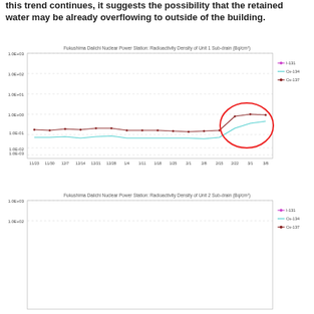this trend continues, it suggests the possibility that the retained water may be already overflowing to outside of the building.
[Figure (line-chart): Fukushima Daiichi Nuclear Power Station: Radioactivity Density of Unit 1 Sub-drain (Bq/cm²)]
[Figure (line-chart): Fukushima Daiichi Nuclear Power Station: Radioactivity Density of Unit 2 Sub-drain (Bq/cm²)]